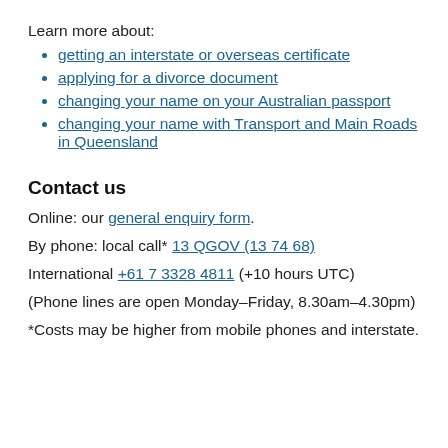Learn more about:
getting an interstate or overseas certificate
applying for a divorce document
changing your name on your Australian passport
changing your name with Transport and Main Roads in Queensland
Contact us
Online: our general enquiry form.
By phone: local call* 13 QGOV (13 74 68)
International +61 7 3328 4811 (+10 hours UTC)
(Phone lines are open Monday–Friday, 8.30am–4.30pm)
*Costs may be higher from mobile phones and interstate.